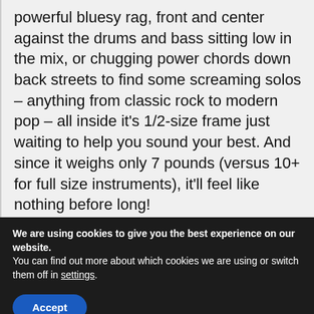powerful bluesy rag, front and center against the drums and bass sitting low in the mix, or chugging power chords down back streets to find some screaming solos – anything from classic rock to modern pop – all inside it's 1/2-size frame just waiting to help you sound your best. And since it weighs only 7 pounds (versus 10+ for full size instruments), it'll feel like nothing before long!
The Fender Squier Short Scale (24") Stratocaster – Transparent Red is perfect
We are using cookies to give you the best experience on our website.
You can find out more about which cookies we are using or switch them off in settings.
Accept